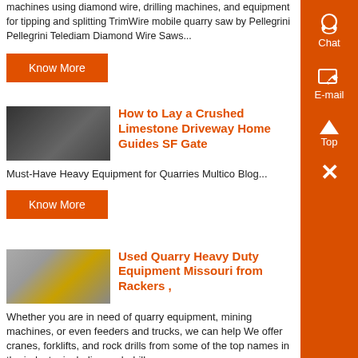machines using diamond wire, drilling machines, and equipment for tipping and splitting TrimWire mobile quarry saw by Pellegrini Pellegrini Telediam Diamond Wire Saws...
Know More
[Figure (photo): Thumbnail image of quarry equipment - dark circular/ring shapes]
How to Lay a Crushed Limestone Driveway Home Guides SF Gate
Must-Have Heavy Equipment for Quarries Multico Blog...
Know More
[Figure (photo): Thumbnail image of yellow heavy quarry machinery outdoors]
Used Quarry Heavy Duty Equipment Missouri from Rackers ,
Whether you are in need of quarry equipment, mining machines, or even feeders and trucks, we can help We offer cranes, forklifts, and rock drills from some of the top names in the industry including rock drills...
Know More